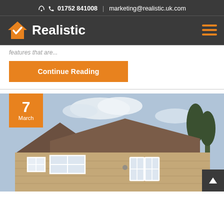01752 841008 | marketing@realistic.uk.com
[Figure (logo): Realistic logo with orange house checkmark icon and white bold text 'Realistic' on dark background, with hamburger menu icon on right]
features that are...
Continue Reading
[Figure (photo): Stone cottage house with white windows and French doors, tiled roof, cloudy sky. Date badge shows '7 March' in orange.]